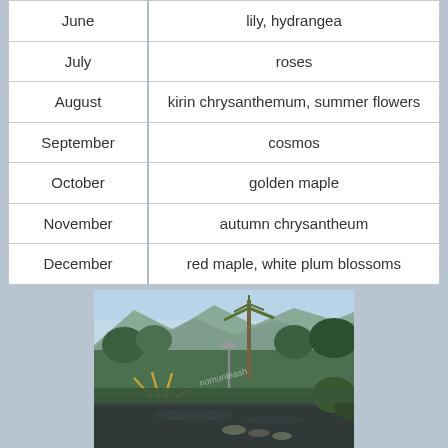| Month | Flowers/Plants |
| --- | --- |
| June | lily, hydrangea |
| July | roses |
| August | kirin chrysanthemum, summer flowers |
| September | cosmos |
| October | golden maple |
| November | autumn chrysantheum |
| December | red maple, white plum blossoms |
[Figure (photo): Garden scene with a stream or pond in the foreground, tropical plants including palm trees and a spiky plant, lush green vegetation, mountains in the background under a hazy sky. A watermark is visible in the center of the image.]